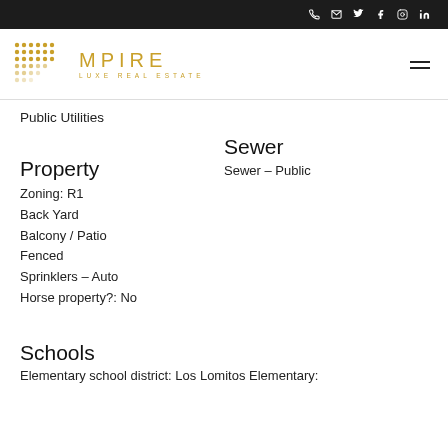MPIRE LUXE REAL ESTATE — navigation bar with phone, email, twitter, facebook, instagram, linkedin icons
[Figure (logo): Mpire Luxe Real Estate logo with gold dot-grid pattern and gold text]
Public Utilities
Sewer
Sewer – Public
Property
Zoning: R1
Back Yard
Balcony / Patio
Fenced
Sprinklers – Auto
Horse property?: No
Schools
Elementary school district: Los Lomitos Elementary: